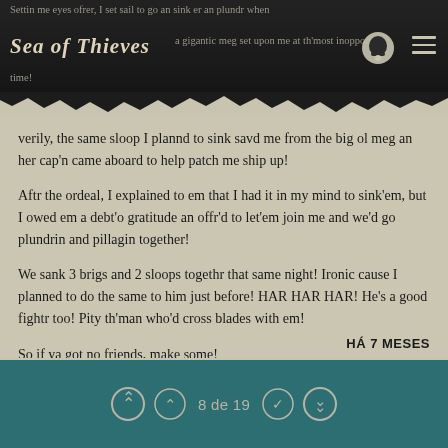Settin me eyes ofrer, I set sail to go an sink er an plundr when a gigantic meg set upon me at th'most inopportune time!
verily, the same sloop I plannd to sink savd me from the big ol meg an her cap'n came aboard to help patch me ship up!
Aftr the ordeal, I explained to em that I had it in my mind to sink'em, but I owed em a debt'o gratitude an offr'd to let'em join me and we'd go plundrin and pillagin together!
We sank 3 brigs and 2 sloops togethr that same night! Ironic cause I planned to do the same to him just before! HAR HAR HAR! He's a good fightr too! Pity th'man who'd cross blades with em!
So if ya got no friends, make some!
HÁ 7 MESES
8 de 19